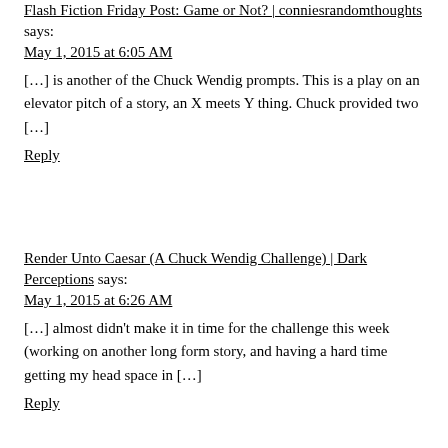Flash Fiction Friday Post: Game or Not? | conniesrandomthoughts says:
May 1, 2015 at 6:05 AM
[…] is another of the Chuck Wendig prompts. This is a play on an elevator pitch of a story, an X meets Y thing. Chuck provided two […]
Reply
Render Unto Caesar (A Chuck Wendig Challenge) | Dark Perceptions says:
May 1, 2015 at 6:26 AM
[…] almost didn't make it in time for the challenge this week (working on another long form story, and having a hard time getting my head space in […]
Reply